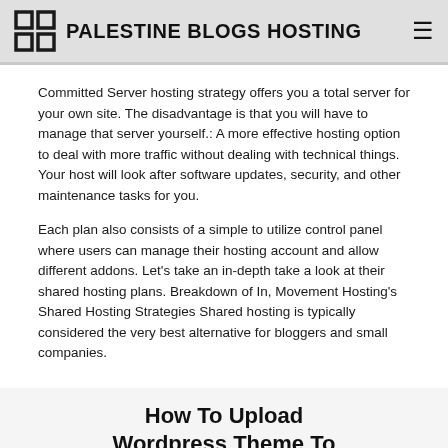PALESTINE BLOGS HOSTING
Committed Server hosting strategy offers you a total server for your own site. The disadvantage is that you will have to manage that server yourself.: A more effective hosting option to deal with more traffic without dealing with technical things. Your host will look after software updates, security, and other maintenance tasks for you.
Each plan also consists of a simple to utilize control panel where users can manage their hosting account and allow different addons. Let's take an in-depth take a look at their shared hosting plans. Breakdown of In, Movement Hosting's Shared Hosting Strategies Shared hosting is typically considered the very best alternative for bloggers and small companies.
How To Upload Wordpress Theme To